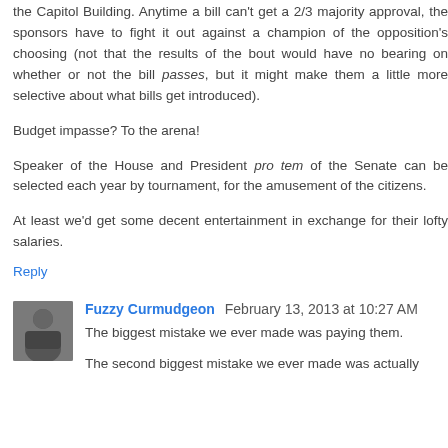the Capitol Building. Anytime a bill can't get a 2/3 majority approval, the sponsors have to fight it out against a champion of the opposition's choosing (not that the results of the bout would have no bearing on whether or not the bill passes, but it might make them a little more selective about what bills get introduced).
Budget impasse? To the arena!
Speaker of the House and President pro tem of the Senate can be selected each year by tournament, for the amusement of the citizens.
At least we'd get some decent entertainment in exchange for their lofty salaries.
Reply
Fuzzy Curmudgeon February 13, 2013 at 10:27 AM
The biggest mistake we ever made was paying them.
The second biggest mistake we ever made was actually